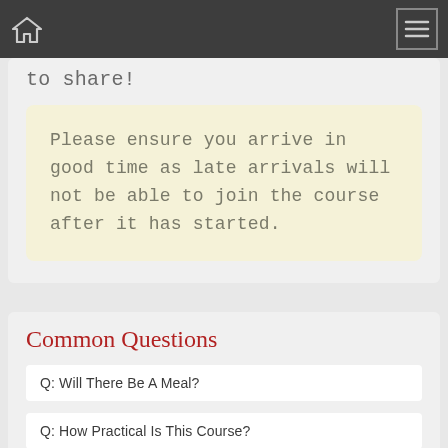Home | Menu
to share!
Please ensure you arrive in good time as late arrivals will not be able to join the course after it has started.
Common Questions
Q: Will There Be A Meal?
Q: How Practical Is This Course?
Q: What Skill Level Is Required To Take